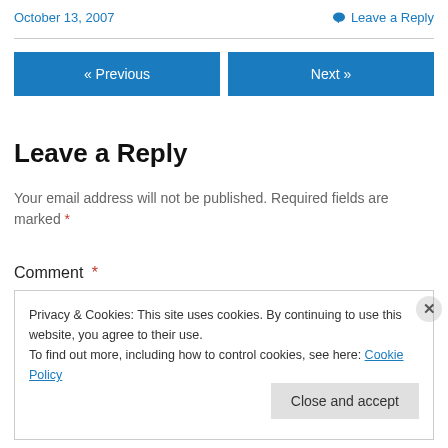October 13, 2007
Leave a Reply
« Previous
Next »
Leave a Reply
Your email address will not be published. Required fields are marked *
Comment *
Privacy & Cookies: This site uses cookies. By continuing to use this website, you agree to their use. To find out more, including how to control cookies, see here: Cookie Policy
Close and accept